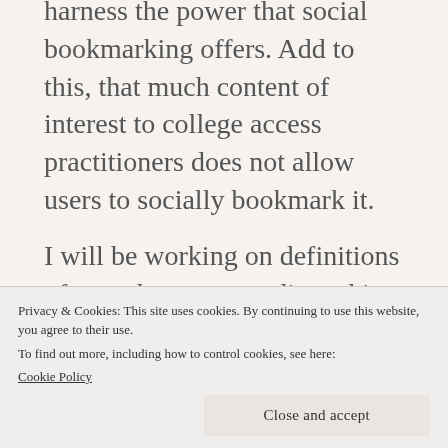harness the power that social bookmarking offers. Add to this, that much content of interest to college access practitioners does not allow users to socially bookmark it.
I will be working on definitions of prevalent new media and its uses for college access organizations as well as pitching groups of key words for their use. Also, if people aren't sharing their bookmarks or funnelling them into one shared site, then much of our collective efforts could be wasted. If you
Privacy & Cookies: This site uses cookies. By continuing to use this website, you agree to their use.
To find out more, including how to control cookies, see here:
Cookie Policy
Close and accept
More to come...